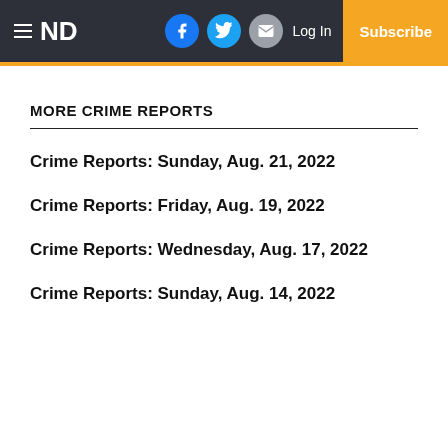ND | Log In | Subscribe
MORE CRIME REPORTS
Crime Reports: Sunday, Aug. 21, 2022
Crime Reports: Friday, Aug. 19, 2022
Crime Reports: Wednesday, Aug. 17, 2022
Crime Reports: Sunday, Aug. 14, 2022